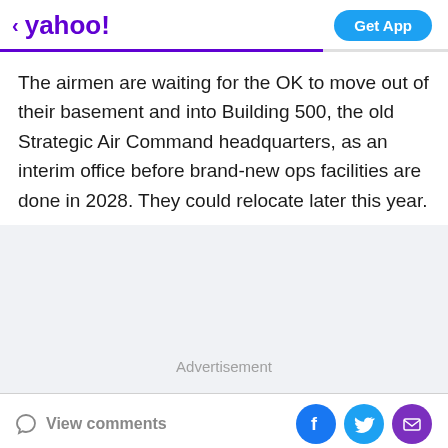< yahoo!  Get App
The airmen are waiting for the OK to move out of their basement and into Building 500, the old Strategic Air Command headquarters, as an interim office before brand-new ops facilities are done in 2028. They could relocate later this year.
[Figure (other): Advertisement placeholder area with light gray background and 'Advertisement' label]
View comments  [Facebook] [Twitter] [Email]